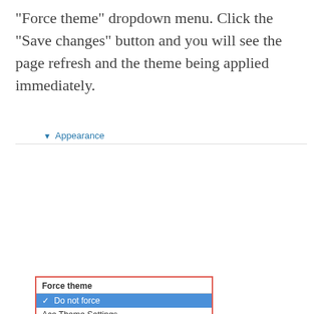“Force theme” dropdown menu. Click the “Save changes” button and you will see the page refresh and the theme being applied immediately.
[Figure (screenshot): Screenshot of a Moodle Appearance settings panel showing a 'Force theme' dropdown menu with 'Do not force' selected (highlighted in blue), and a list of theme options including Ace Theme Settings, Afterburner, Anomaly, Arialist, Binarius, Boxxie, Brick, Brizzle Theme Settings, Cantata Theme Settings, Clean, Dishy Theme Settings, Ergo Theme Settings, Formal white. A red border highlights the dropdown. A gray cookie consent overlay covers the lower portion.]
That’s it. Depending on how you use/organize your Moodle site, you might find this feature useful in the future.